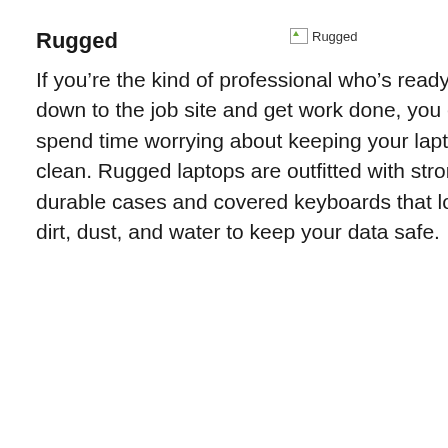Rugged
[Figure (illustration): Broken image placeholder labeled 'Rugged']
If you’re the kind of professional who’s ready to go down to the job site and get work done, you can’t spend time worrying about keeping your laptop clean. Rugged laptops are outfitted with strong, durable cases and covered keyboards that lock out dirt, dust, and water to keep your data safe.